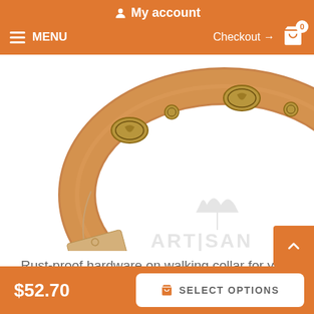My account   MENU   Checkout → 0
[Figure (photo): Tan leather dog collar with decorative brass oval and round studs, with an Artisan branded hang tag. Artisan logo watermark visible in bottom right of image.]
Rust-proof hardware on walking collar for your canine
Key features of this Dog Collar:
Intended use of this Dog Collar:
$52.70
SELECT OPTIONS